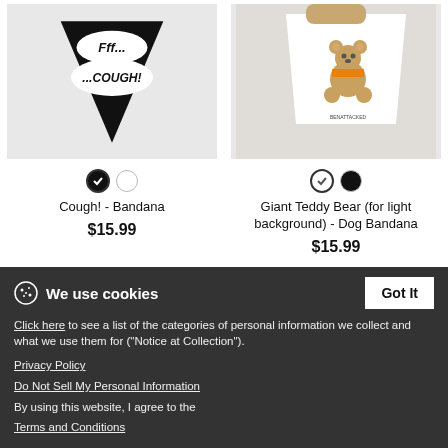[Figure (photo): Black bandana product with speech bubbles reading 'FFF... COUGH!' on grey background]
[Figure (photo): White dog bandana with Giant Teddy Bear design (BENATTACKED), worn by a dog]
Cough! - Bandana
$15.99
Giant Teddy Bear (for light background) - Dog Bandana
$15.99
[Figure (photo): White bandana product with teddy bear design on grey background]
[Figure (photo): Dog wearing black bandana with teddy bear design, viewed from behind]
We use cookies
Click here to see a list of the categories of personal information we collect and what we use them for ("Notice at Collection").
Privacy Policy
Do Not Sell My Personal Information
By using this website, I agree to the Terms and Conditions